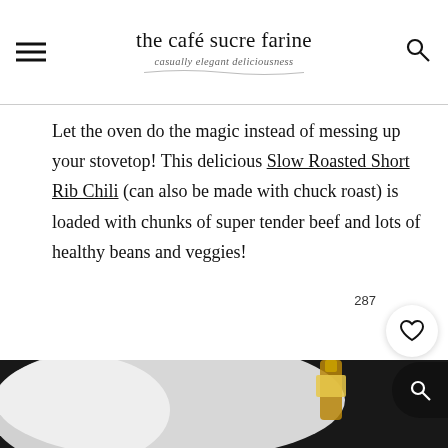the café sucre farine — casually elegant deliciousness
Let the oven do the magic instead of messing up your stovetop! This delicious Slow Roasted Short Rib Chili (can also be made with chuck roast) is loaded with chunks of super tender beef and lots of healthy beans and veggies!
[Figure (photo): Food photograph showing ingredients or dish in dark background with a bottle visible, likely related to Slow Roasted Short Rib Chili recipe]